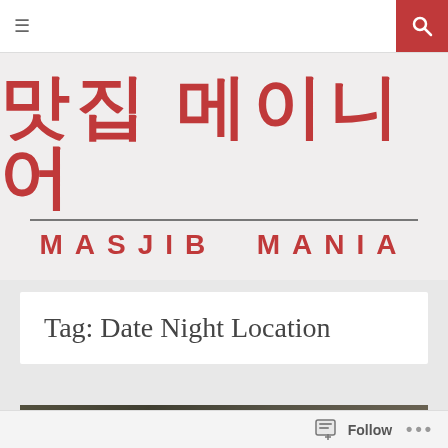≡  [search icon]
[Figure (logo): Masjib Mania logo with Korean text 맛집 메이니어 in red above a horizontal divider, and MASJIB MANIA in red below]
Tag: Date Night Location
[Figure (photo): Partial dark-toned photo at the bottom, appears to show a dimly lit scene]
Follow ...